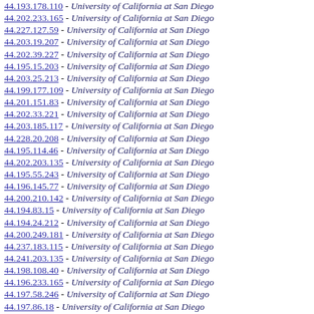44.193.178.110 - University of California at San Diego
44.202.233.165 - University of California at San Diego
44.227.127.59 - University of California at San Diego
44.203.19.207 - University of California at San Diego
44.202.39.227 - University of California at San Diego
44.195.15.203 - University of California at San Diego
44.203.25.213 - University of California at San Diego
44.199.177.109 - University of California at San Diego
44.201.151.83 - University of California at San Diego
44.202.33.221 - University of California at San Diego
44.203.185.117 - University of California at San Diego
44.228.20.208 - University of California at San Diego
44.195.114.46 - University of California at San Diego
44.202.203.135 - University of California at San Diego
44.195.55.243 - University of California at San Diego
44.196.145.77 - University of California at San Diego
44.200.210.142 - University of California at San Diego
44.194.83.15 - University of California at San Diego
44.194.24.212 - University of California at San Diego
44.200.249.181 - University of California at San Diego
44.237.183.115 - University of California at San Diego
44.241.203.135 - University of California at San Diego
44.198.108.40 - University of California at San Diego
44.196.233.165 - University of California at San Diego
44.197.58.246 - University of California at San Diego
44.197.86.18 - University of California at San Diego
44.236.220.152 - University of California at San Diego
44.193.129.61 - University of California at San Diego
44.200.8.196 - University of California at San Diego
44.193.16.204 - University of California at San Diego